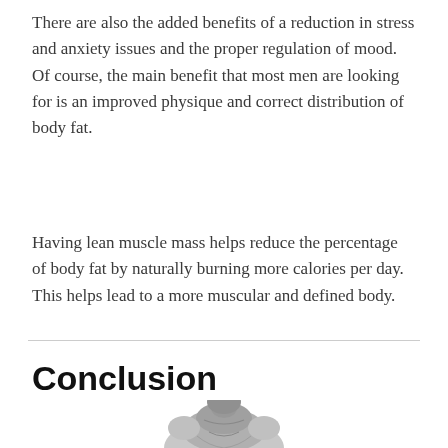There are also the added benefits of a reduction in stress and anxiety issues and the proper regulation of mood. Of course, the main benefit that most men are looking for is an improved physique and correct distribution of body fat.
Having lean muscle mass helps reduce the percentage of body fat by naturally burning more calories per day. This helps lead to a more muscular and defined body.
Conclusion
[Figure (illustration): Grayscale illustration of a muscular man bent forward, showing defined back and shoulder muscles, visible from upper torso only.]